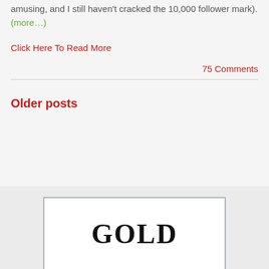amusing, and I still haven't cracked the 10,000 follower mark). (more...)
Click Here To Read More
75 Comments
Older posts
[Figure (illustration): Image with large bold text reading GOLD on white background with grey border]